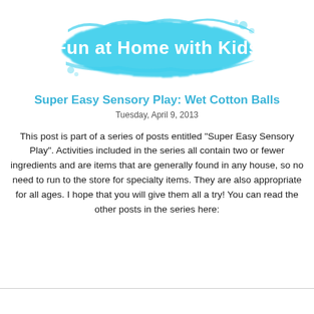[Figure (logo): Watercolor brush stroke in cyan/turquoise with white text reading 'Fun at Home with Kids']
Super Easy Sensory Play: Wet Cotton Balls
Tuesday, April 9, 2013
This post is part of a series of posts entitled "Super Easy Sensory Play". Activities included in the series all contain two or fewer ingredients and are items that are generally found in any house, so no need to run to the store for specialty items.  They are also appropriate for all ages.  I hope that you will give them all a try!  You can read the other posts in the series here: